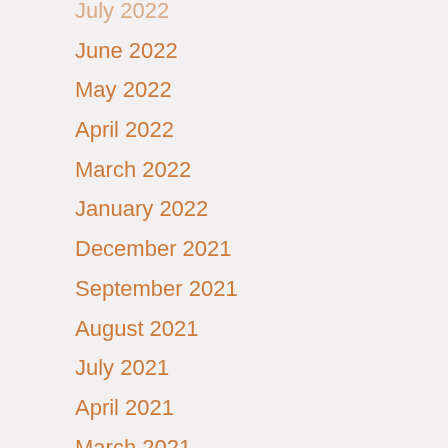July 2022
June 2022
May 2022
April 2022
March 2022
January 2022
December 2021
September 2021
August 2021
July 2021
April 2021
March 2021
February 2021
January 2021
December 2020
November 2020